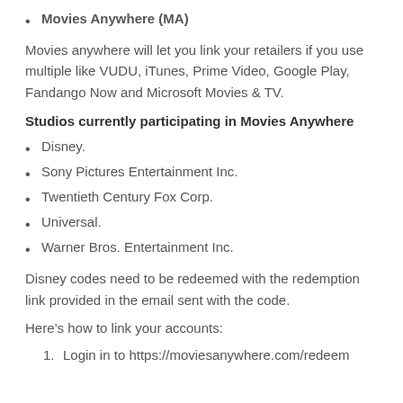Movies Anywhere (MA)
Movies anywhere will let you link your retailers if you use multiple like VUDU, iTunes, Prime Video, Google Play, Fandango Now and Microsoft Movies & TV.
Studios currently participating in Movies Anywhere
Disney.
Sony Pictures Entertainment Inc.
Twentieth Century Fox Corp.
Universal.
Warner Bros. Entertainment Inc.
Disney codes need to be redeemed with the redemption link provided in the email sent with the code.
Here’s how to link your accounts:
1. Login in to https://moviesanywhere.com/redeem